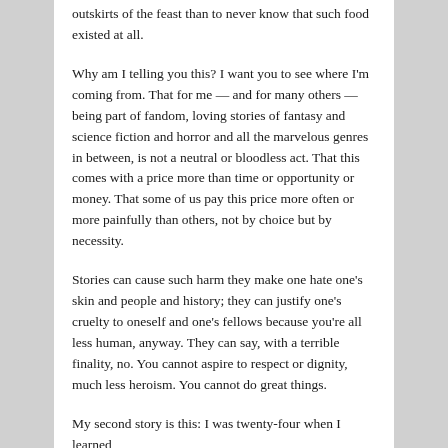outskirts of the feast than to never know that such food existed at all.
Why am I telling you this? I want you to see where I'm coming from. That for me — and for many others — being part of fandom, loving stories of fantasy and science fiction and horror and all the marvelous genres in between, is not a neutral or bloodless act. That this comes with a price more than time or opportunity or money. That some of us pay this price more often or more painfully than others, not by choice but by necessity.
Stories can cause such harm they make one hate one's skin and people and history; they can justify one's cruelty to oneself and one's fellows because you're all less human, anyway. They can say, with a terrible finality, no. You cannot aspire to respect or dignity, much less heroism. You cannot do great things.
My second story is this: I was twenty-four when I learned